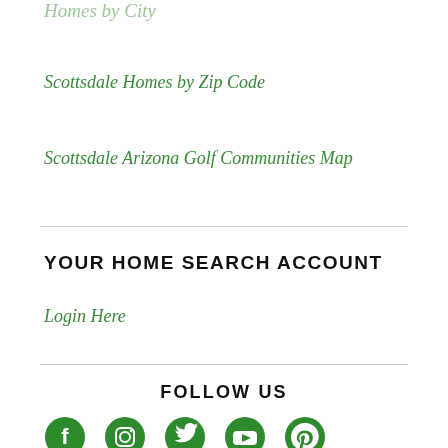Scottsdale Homes by Zip Code
Scottsdale Arizona Golf Communities Map
YOUR HOME SEARCH ACCOUNT
Login Here
FOLLOW US
[Figure (infographic): Social media icons: Facebook, Instagram, Twitter, YouTube, Pinterest — all in green]